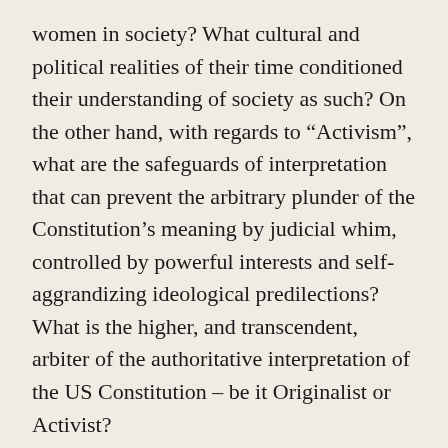women in society? What cultural and political realities of their time conditioned their understanding of society as such? On the other hand, with regards to “Activism”, what are the safeguards of interpretation that can prevent the arbitrary plunder of the Constitution’s meaning by judicial whim, controlled by powerful interests and self-aggrandizing ideological predilections? What is the higher, and transcendent, arbiter of the authoritative interpretation of the US Constitution – be it Originalist or Activist?
It is now almost impossible to imagine the